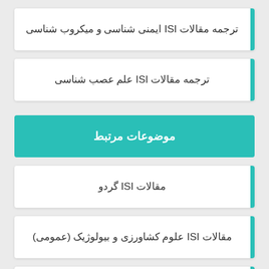ترجمه مقالات ISI ایمنی شناسی و میکروب شناسی
ترجمه مقالات ISI علم عصب شناسی
موضوعات مرتبط
مقالات ISI گردو
مقالات ISI علوم کشاورزی و بیولوژیک (عمومی)
مقالات ISI علوم زراعت و اصلاح نباتات